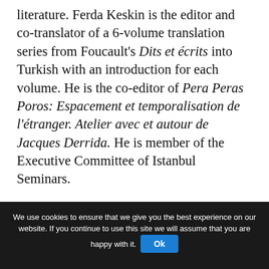literature. Ferda Keskin is the editor and co-translator of a 6-volume translation series from Foucault's Dits et écrits into Turkish with an introduction for each volume. He is the co-editor of Pera Peras Poros: Espacement et temporalisation de l'étranger. Atelier avec et autour de Jacques Derrida. He is member of the Executive Committee of Istanbul Seminars.
Fuat Keyman is the Director of Istanbul Policy Center and Professor of International Relations at Sabanci University in Istanbul. His work focuses mainly on the theories of globalization and the notion of citizenship
We use cookies to ensure that we give you the best experience on our website. If you continue to use this site we will assume that you are happy with it. Ok